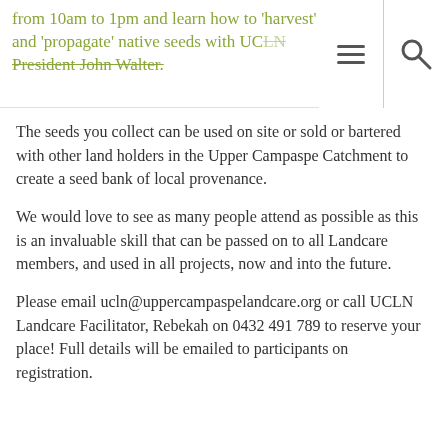from 10am to 1pm and learn how to 'harvest' and 'propagate' native seeds with UCLN President John Walter.
The seeds you collect can be used on site or sold or bartered with other land holders in the Upper Campaspe Catchment to create a seed bank of local provenance.
We would love to see as many people attend as possible as this is an invaluable skill that can be passed on to all Landcare members, and used in all projects, now and into the future.
Please email ucln@uppercampaspelandcare.org or call UCLN Landcare Facilitator, Rebekah on 0432 491 789 to reserve your place! Full details will be emailed to participants on registration.